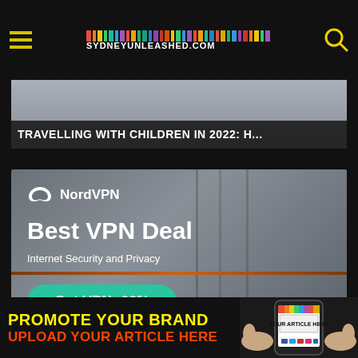SYDNEYUNLEASHED.COM
[Figure (screenshot): Article banner image with text: TRAVELLING WITH CHILDREN IN 2022: H...]
[Figure (infographic): NordVPN advertisement: Best VPN Deal, Internet Security and Privacy, Get VPN -66%]
[Figure (infographic): Bottom promotion banner: PROMOTE YOUR BRAND / UPLOAD YOUR ARTICLE HERE with phone mockup showing YOUR ARTICLE HERE]